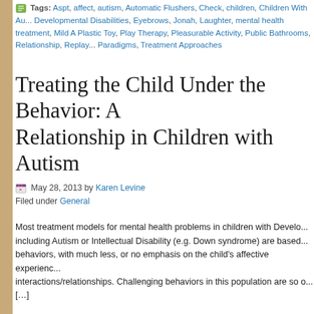Tags: Aspt, affect, autism, Automatic Flushers, Check, children, Children With Autism, Developmental Disabilities, Eyebrows, Jonah, Laughter, mental health treatment, Mild A, Plastic Toy, Play Therapy, Pleasurable Activity, Public Bathrooms, Relationship, Replay, Paradigms, Treatment Approaches
Treating the Child Under the Behavior: A Relationship in Children with Autism
May 28, 2013 by Karen Levine
Filed under General
Most treatment models for mental health problems in children with Developmental Disabilities, including Autism or Intellectual Disability (e.g. Down syndrome) are based on behaviors, with much less, or no emphasis on the child's affective experience/interactions/relationships. Challenging behaviors in this population are so o […]
Tags: 1980s, Autism Treatment, Belief, Challenging Behaviors, Children With Autism, Disabilities, Conceptualization, Dd, Down Syndrome, Emotional Processes, Emotions, Intellectual Disability, Interaction, Manifestation, Manipulation, Memoir, Mental Health Treatments, Perceptions, Treatment Models, Undercurrent